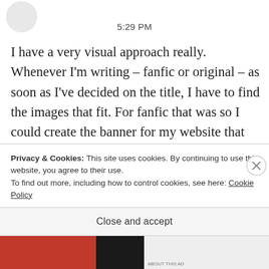5:29 PM
I have a very visual approach really. Whenever I'm writing – fanfic or original – as soon as I've decided on the title, I have to find the images that fit. For fanfic that was so I could create the banner for my website that would head up the story. These
Privacy & Cookies: This site uses cookies. By continuing to use this website, you agree to their use.
To find out more, including how to control cookies, see here: Cookie Policy
Close and accept